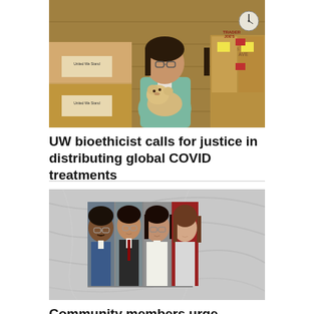[Figure (photo): A young Asian woman holding a small fluffy dog, standing in front of stacked cardboard boxes labeled 'United We Stand' and Trader Joe's bags.]
UW bioethicist calls for justice in distributing global COVID treatments
[Figure (photo): Four headshot photos of community members side by side: a Black man with glasses and mustache, an Asian man with glasses, an Asian woman with glasses, and a Caucasian woman with short brown hair, against a light marbled background.]
Community members urge support for SPD